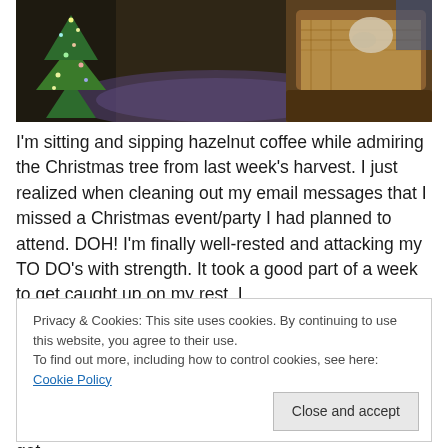[Figure (photo): Indoor photo showing a Christmas tree with lights on the left side, and a dog or pet resting on a leather sofa covered with a patterned blanket on the right. An ornate area rug is visible on the floor between them, with a hallway visible in the background.]
I'm sitting and sipping hazelnut coffee while admiring the Christmas tree from last week's harvest. I just realized when cleaning out my email messages that I missed a Christmas event/party I had planned to attend. DOH! I'm finally well-rested and attacking my TO DO's with strength. It took a good part of a week to get caught up on my rest. I
Privacy & Cookies: This site uses cookies. By continuing to use this website, you agree to their use.
To find out more, including how to control cookies, see here: Cookie Policy
winterizing done. Several things in the yard need to get